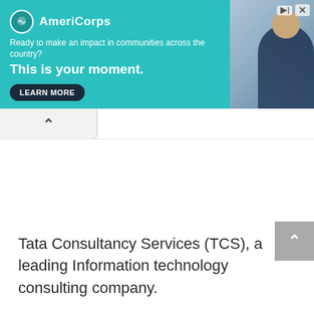[Figure (screenshot): AmeriCorps advertisement banner with teal background. Logo circle on left, brand name 'AmeriCorps', tagline 'Ready to make an impact in communities across the country?', headline 'This is your moment.', LEARN MORE button, and a photo of a person on the right side.]
Tata Consultancy Services (TCS), a leading Information technology consulting company.